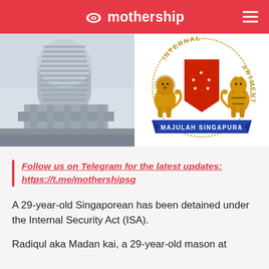mothership
[Figure (photo): Photo of a tall cylindrical government building (ISD building) in Singapore, photographed from below against a light sky.]
[Figure (logo): Singapore Internal Security Department crest featuring a lion and tiger flanking a red shield with crescent and stars, with the motto MAJULAH SINGAPURA on a blue banner.]
Follow us on Telegram for the latest updates: https://t.me/mothershipsg
A 29-year-old Singaporean has been detained under the Internal Security Act (ISA).
Radiqul aka Madan kai, a 29-year-old mason at